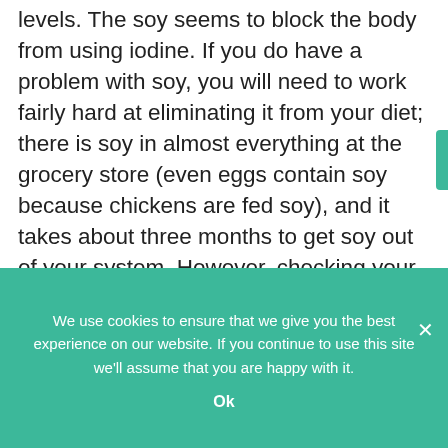levels. The soy seems to block the body from using iodine. If you do have a problem with soy, you will need to work fairly hard at eliminating it from your diet; there is soy in almost everything at the grocery store (even eggs contain soy because chickens are fed soy), and it takes about three months to get soy out of your system. However, checking your iodine level is as easy as buying a bottle of iodine and painting a large circle on the inner part of your arm. If it disappears, you need to be taking kelp supplements. Other natural thyroid remedies include astragalus
We use cookies to ensure that we give you the best experience on our website. If you continue to use this site we'll assume that you are happy with it.
Ok